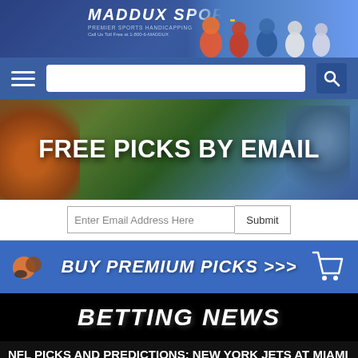[Figure (screenshot): Maddux Sports header banner with logo and athlete silhouettes against blue background]
[Figure (screenshot): Navigation bar with hamburger menu, search box, and search icon on blue background]
[Figure (screenshot): Free Picks By Email promotional banner with basketball and football helmet imagery]
[Figure (screenshot): Email signup form with Enter Email Address Here input and Submit button]
[Figure (screenshot): Buy Premium Picks blue banner with sports balls and shopping cart icon]
[Figure (screenshot): Betting News black banner with bold italic white text]
NFL PICKS AND PREDICTIONS: NEW YORK JETS AT MIAMI DOLPHINS
Posted on November 6, 2016  by  Brett David Roberts  in